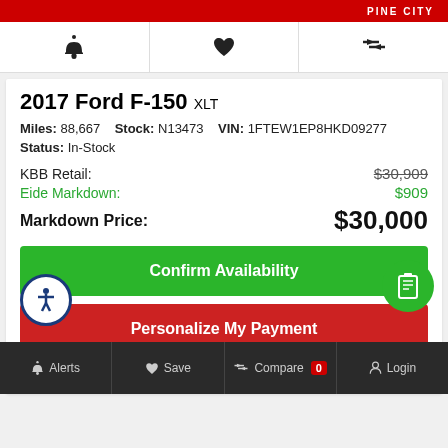PINE CITY
[Figure (screenshot): Icon bar with bell (alerts), heart (save), and compare arrows icons]
2017 Ford F-150 XLT
Miles: 88,667   Stock: N13473   VIN: 1FTEW1EP8HKD09277
Status: In-Stock
KBB Retail: $30,909
Eide Markdown: $909
Markdown Price: $30,000
Confirm Availability
Personalize My Payment
Vehicle Location: Eide Chrysler Pine City
Alerts   Save   Compare 0   Login